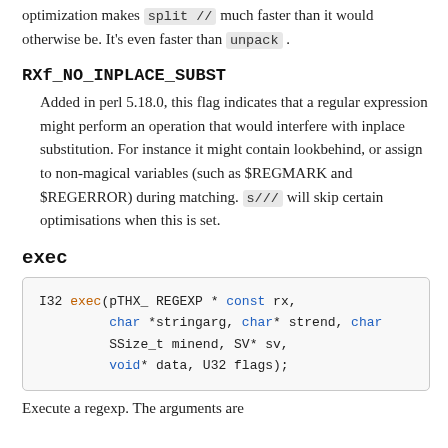optimization makes split // much faster than it would otherwise be. It's even faster than unpack .
RXf_NO_INPLACE_SUBST
Added in perl 5.18.0, this flag indicates that a regular expression might perform an operation that would interfere with inplace substitution. For instance it might contain lookbehind, or assign to non-magical variables (such as $REGMARK and $REGERROR) during matching. s/// will skip certain optimisations when this is set.
exec
I32 exec(pTHX_ REGEXP * const rx,
         char *stringarg, char* strend, char
         SSize_t minend, SV* sv,
         void* data, U32 flags);
Execute a regexp. The arguments are